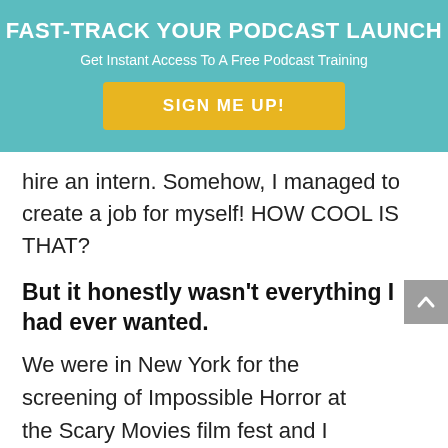FAST-TRACK YOUR PODCAST LAUNCH
Get Instant Access To A Free Podcast Training
SIGN ME UP!
hire an intern. Somehow, I managed to create a job for myself! HOW COOL IS THAT?
But it honestly wasn’t everything I had ever wanted.
We were in New York for the screening of Impossible Horror at the Scary Movies film fest and I decided to go walk up and down 5th Avenue on Sunday morning. I found myself